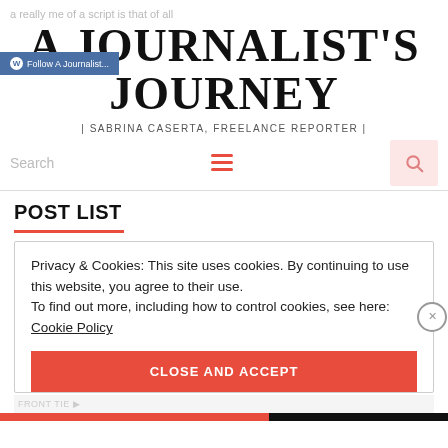A JOURNALIST'S JOURNEY
| SABRINA CASERTA, FREELANCE REPORTER |
POST LIST
Privacy & Cookies: This site uses cookies. By continuing to use this website, you agree to their use.
To find out more, including how to control cookies, see here: Cookie Policy
CLOSE AND ACCEPT